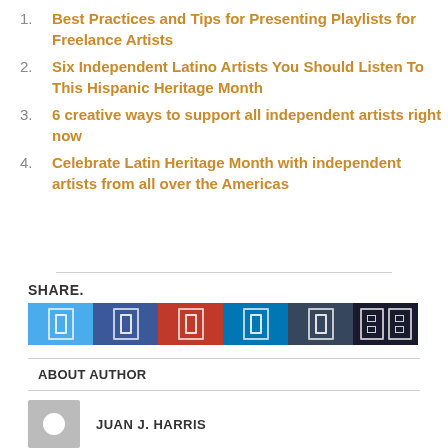Best Practices and Tips for Presenting Playlists for Freelance Artists
Six Independent Latino Artists You Should Listen To This Hispanic Heritage Month
6 creative ways to support all independent artists right now
Celebrate Latin Heritage Month with independent artists from all over the Americas
SHARE.
[Figure (other): Social media share buttons: Twitter (light blue), Facebook (dark blue), Pinterest (red), LinkedIn (teal), Tumblr (dark slate), and a share/more button (dark navy)]
ABOUT AUTHOR
JUAN J. HARRIS